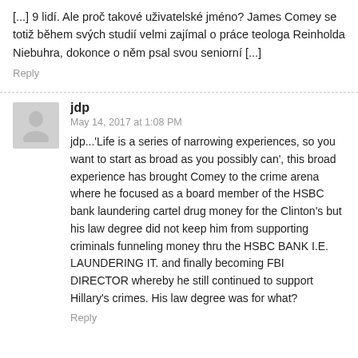[...] 9 lidí. Ale proč takové uživatelské jméno? James Comey se totiž během svých studií velmi zajímal o práce teologa Reinholda Niebuhra, dokonce o něm psal svou seniorní [...]
Reply
jdp
May 14, 2017 at 1:08 PM
jdp...'Life is a series of narrowing experiences, so you want to start as broad as you possibly can', this broad experience has brought Comey to the crime arena where he focused as a board member of the HSBC bank laundering cartel drug money for the Clinton's but his law degree did not keep him from supporting criminals funneling money thru the HSBC BANK I.E. LAUNDERING IT. and finally becoming FBI DIRECTOR whereby he still continued to support Hillary's crimes. His law degree was for what?
Reply